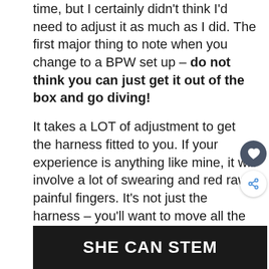time, but I certainly didn't think I'd need to adjust it as much as I did. The first major thing to note when you change to a BPW set up – do not think you can just get it out of the box and go diving!
It takes a LOT of adjustment to get the harness fitted to you. If your experience is anything like mine, it will involve a lot of swearing and red raw painful fingers. It's not just the harness – you'll want to move all the D-rings to where you need them, or maybe add additional D-rings.
[Figure (other): Dark banner advertisement with white bold text reading SHE CAN STEM]